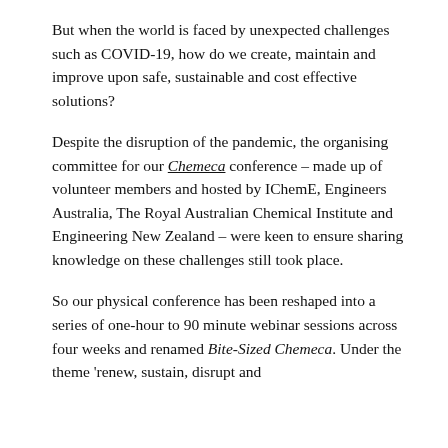But when the world is faced by unexpected challenges such as COVID-19, how do we create, maintain and improve upon safe, sustainable and cost effective solutions?
Despite the disruption of the pandemic, the organising committee for our Chemeca conference – made up of volunteer members and hosted by IChemE, Engineers Australia, The Royal Australian Chemical Institute and Engineering New Zealand – were keen to ensure sharing knowledge on these challenges still took place.
So our physical conference has been reshaped into a series of one-hour to 90 minute webinar sessions across four weeks and renamed Bite-Sized Chemeca. Under the theme 'renew, sustain, disrupt and